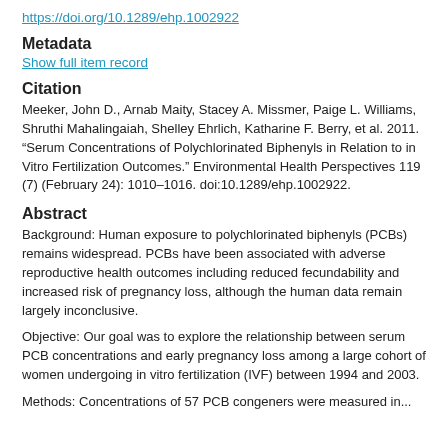https://doi.org/10.1289/ehp.1002922
Metadata
Show full item record
Citation
Meeker, John D., Arnab Maity, Stacey A. Missmer, Paige L. Williams, Shruthi Mahalingaiah, Shelley Ehrlich, Katharine F. Berry, et al. 2011. “Serum Concentrations of Polychlorinated Biphenyls in Relation to in Vitro Fertilization Outcomes.” Environmental Health Perspectives 119 (7) (February 24): 1010–1016. doi:10.1289/ehp.1002922.
Abstract
Background: Human exposure to polychlorinated biphenyls (PCBs) remains widespread. PCBs have been associated with adverse reproductive health outcomes including reduced fecundability and increased risk of pregnancy loss, although the human data remain largely inconclusive.
Objective: Our goal was to explore the relationship between serum PCB concentrations and early pregnancy loss among a large cohort of women undergoing in vitro fertilization (IVF) between 1994 and 2003.
Methods: Concentrations of 57 PCB congeners were measured in...